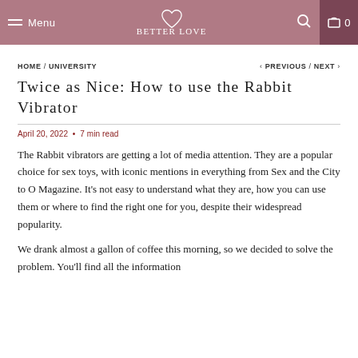Menu  BETTER LOVE  0
HOME / UNIVERSITY  < PREVIOUS / NEXT >
Twice as Nice: How to use the Rabbit Vibrator
April 20, 2022  •  7 min read
The Rabbit vibrators are getting a lot of media attention. They are a popular choice for sex toys, with iconic mentions in everything from Sex and the City to O Magazine. It's not easy to understand what they are, how you can use them or where to find the right one for you, despite their widespread popularity.
We drank almost a gallon of coffee this morning, so we decided to solve the problem. You'll find all the information